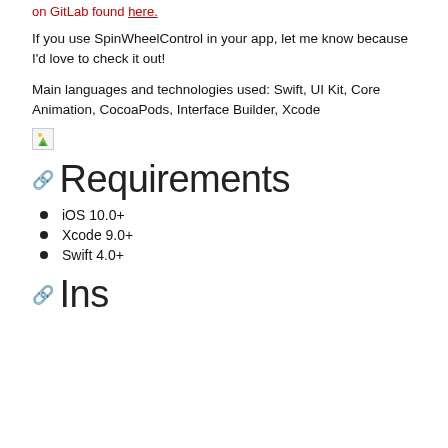on GitLab found here.
If you use SpinWheelControl in your app, let me know because I'd love to check it out!
Main languages and technologies used: Swift, UI Kit, Core Animation, CocoaPods, Interface Builder, Xcode
[Figure (illustration): Broken image placeholder icon with green/yellow triangle shape]
Requirements
iOS 10.0+
Xcode 9.0+
Swift 4.0+
Installation